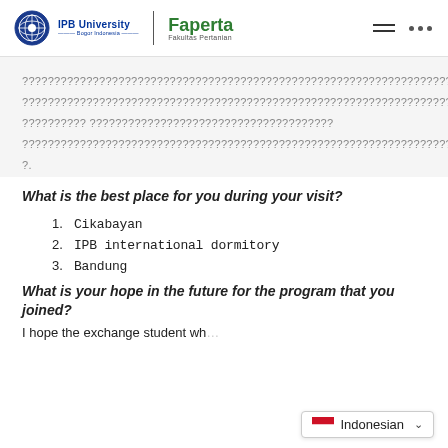IPB University | Faperta Fakultas Pertanian
????????????????????????????????????????????????????????????????????????????????????????????????????????????????????????????????????????????????????????????????? ??????????????????????????????????????????????????????????????????????????????????????????????????????????????????????????????????????? ?.
What is the best place for you during your visit?
1. Cikabayan
2. IPB international dormitory
3. Bandung
What is your hope in the future for the program that you joined?
I hope the exchange student wh...